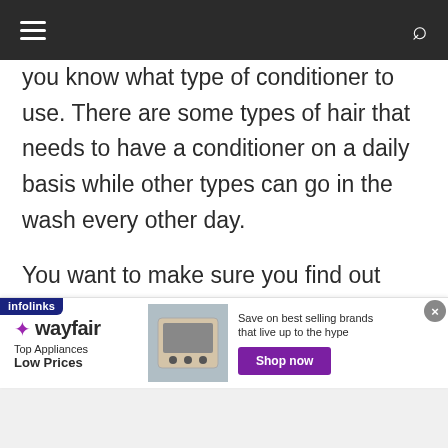[navigation bar with hamburger menu and search icon]
you know what type of conditioner to use. There are some types of hair that needs to have a conditioner on a daily basis while other types can go in the wash every other day.
You want to make sure you find out what kind of conditioner your hair has before you go into a hair salon with dirty hair.
[Figure (screenshot): Wayfair advertisement banner: Top Appliances Low Prices with stove image and Shop now button. Infolinks badge in corner.]